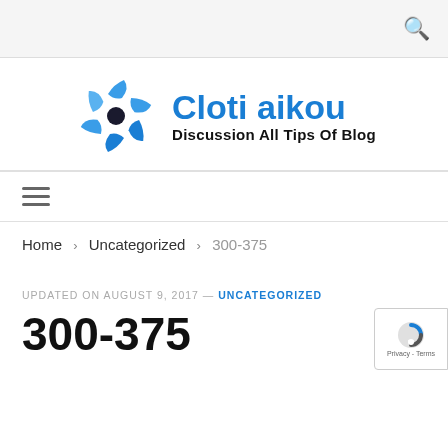[Figure (logo): Cloti aikou blog logo — blue spinning gear icon on left, blue bold text 'Cloti aikou' with black subtitle 'Discussion All Tips Of Blog' on right]
≡
Home > Uncategorized > 300-375
UPDATED ON AUGUST 9, 2017 — UNCATEGORIZED
300-375